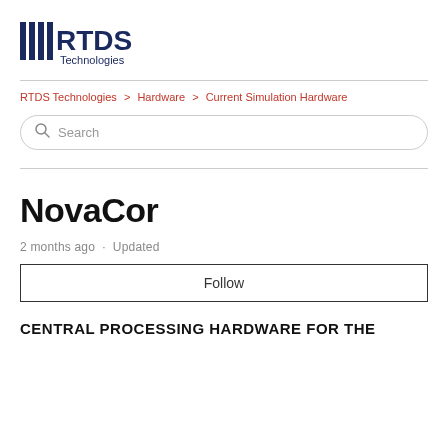[Figure (logo): RTDS Technologies logo with vertical bar lines and company name]
RTDS Technologies > Hardware > Current Simulation Hardware
NovaCor
2 months ago · Updated
Follow
CENTRAL PROCESSING HARDWARE FOR THE